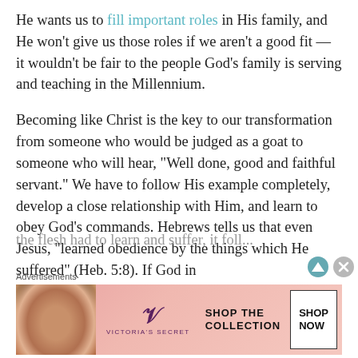He wants us to fill important roles in His family, and He won't give us those roles if we aren't a good fit — it wouldn't be fair to the people God's family is serving and teaching in the Millennium.
Becoming like Christ is the key to our transformation from someone who would be judged as a goat to someone who will hear, "Well done, good and faithful servant." We have to follow His example completely, develop a close relationship with Him, and learn to obey God's commands. Hebrews tells us that even Jesus, "learned obedience by the things which He suffered" (Heb. 5:8). If God in the flesh had to learn and suffer, it foll...
Advertisements
[Figure (infographic): Victoria's Secret advertisement banner with model photo on left, VS logo in center, SHOP THE COLLECTION text, and SHOP NOW button on right]